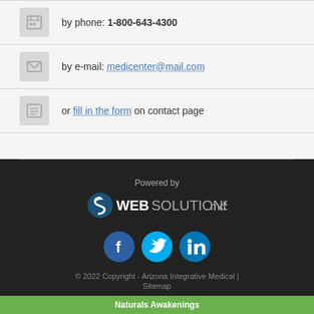by phone: 1-800-643-4300
by e-mail: medicenter@mail.com
or fill in the form on contact page
Powered by WEBSOLUTIONS md® © 2022 Copyright - Arizona Integrative Medical | Sitemap